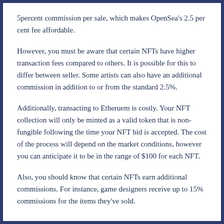5percent commission per sale, which makes OpenSea's 2.5 per cent fee affordable.
However, you must be aware that certain NFTs have higher transaction fees compared to others. It is possible for this to differ between seller. Some artists can also have an additional commission in addition to or from the standard 2.5%.
Additionally, transacting to Etheruem is costly. Your NFT collection will only be minted as a valid token that is non-fungible following the time your NFT bid is accepted. The cost of the process will depend on the market conditions, however you can anticipate it to be in the range of $100 for each NFT.
Also, you should know that certain NFTs earn additional commissions. For instance, game designers receive up to 15% commissions for the items they've sold.